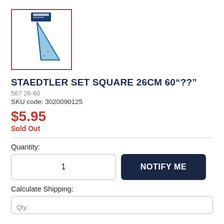[Figure (photo): Staedtler set square product image showing a blue triangular set square ruler against a white background, with product label at top.]
STAEDTLER SET SQUARE 26CM 60"??"
567 26-60
SKU code: 3020090125
$5.95
Sold Out
Quantity:
1
NOTIFY ME
Calculate Shipping:
Qty: